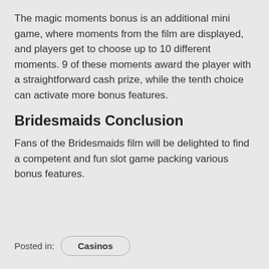The magic moments bonus is an additional mini game, where moments from the film are displayed, and players get to choose up to 10 different moments. 9 of these moments award the player with a straightforward cash prize, while the tenth choice can activate more bonus features.
Bridesmaids Conclusion
Fans of the Bridesmaids film will be delighted to find a competent and fun slot game packing various bonus features.
Posted in:  Casinos